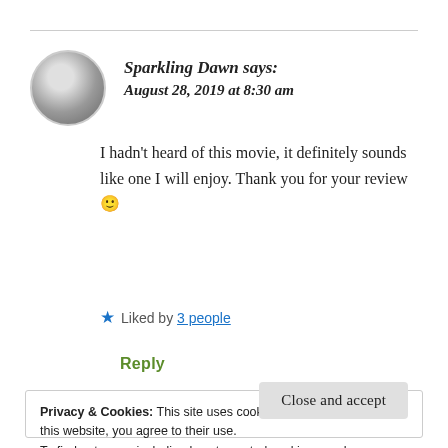Sparkling Dawn says: August 28, 2019 at 8:30 am
I hadn't heard of this movie, it definitely sounds like one I will enjoy. Thank you for your review 🙂
★ Liked by 3 people
Reply
Privacy & Cookies: This site uses cookies. By continuing to use this website, you agree to their use.
To find out more, including how to control cookies, see here: Cookie Policy